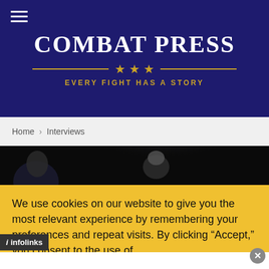[Figure (logo): Combat Press website header with dark navy background, logo title 'COMBAT PRESS', three gold stars with gold horizontal lines, tagline 'EVERY FIGHT HAS A STORY', and hamburger menu icon]
Home > Interviews
[Figure (photo): MMA fighter raising fist under bright spotlight against dark background]
We use cookies on our website to give you the most relevant experience by remembering your preferences and repeat visits. By clicking “Accept,” you consent to the use of all...
[Figure (logo): Infolinks badge/logo in dark background]